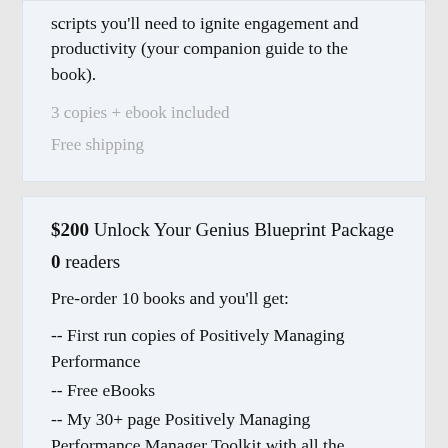scripts you'll need to ignite engagement and productivity (your companion guide to the book).
3 copies + ebook included
Free shipping
$200 Unlock Your Genius Blueprint Package
0 readers
Pre-order 10 books and you'll get:
-- First run copies of Positively Managing Performance
-- Free eBooks
-- My 30+ page Positively Managing Performance Manager Toolkit with all the checklists, cheat sheets and scripts needed to ignite engagement and productivity (companion guide to the book).